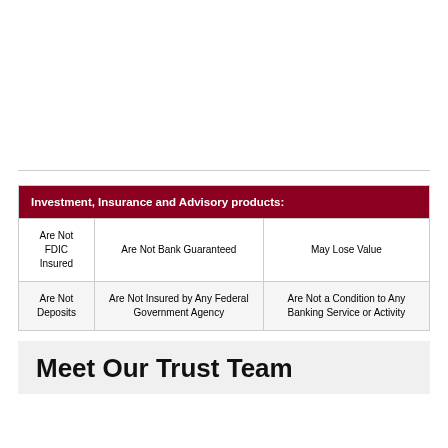| Investment, Insurance and Advisory products: |  |  |
| --- | --- | --- |
| Are Not FDIC Insured | Are Not Bank Guaranteed | May Lose Value |
| Are Not Deposits | Are Not Insured by Any Federal Government Agency | Are Not a Condition to Any Banking Service or Activity |
Meet Our Trust Team